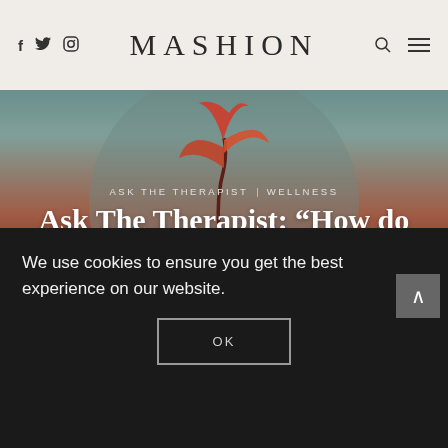f  Twitter  Instagram   MASHION   [search] [menu]
[Figure (illustration): Hero image with a stylized plant sprout growing from water against a teal and red gradient background, with a large circular shape behind it.]
ASK THE THERAPIST   WELLNESS
Ask The Therapist: “How do you let go of things you know you can’t get in your life?”
BY A SHOURI... | NOVEMBER 15, 2019
We use cookies to ensure you get the best experience on our website.
OK